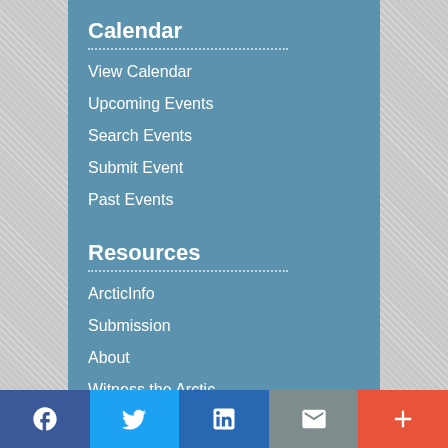Calendar
View Calendar
Upcoming Events
Search Events
Submit Event
Past Events
Resources
ArcticInfo
Submission
About
Witness the Arctic
Witness Community Highlights
ARCUS Mailing Lists
Virtual Backgrounds
Directory of Arctic Researchers